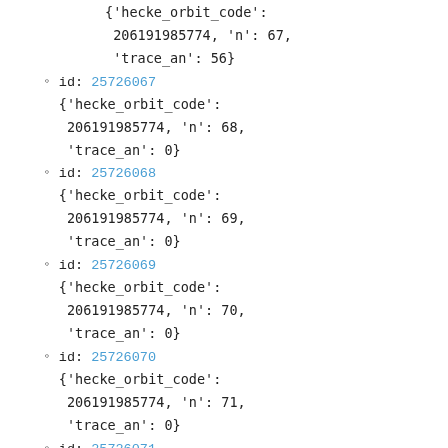{'hecke_orbit_code': 206191985774, 'n': 67, 'trace_an': 56}
id: 25726067 {'hecke_orbit_code': 206191985774, 'n': 68, 'trace_an': 0}
id: 25726068 {'hecke_orbit_code': 206191985774, 'n': 69, 'trace_an': 0}
id: 25726069 {'hecke_orbit_code': 206191985774, 'n': 70, 'trace_an': 0}
id: 25726070 {'hecke_orbit_code': 206191985774, 'n': 71, 'trace_an': 0}
id: 25726071 {'hecke_orbit_code':